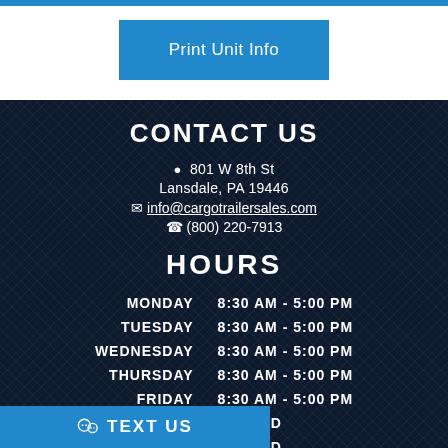Print Unit Info
CONTACT US
📍 801 W 8th St
Lansdale, PA 19446
✉ info@cargotrailersales.com
📞 (800) 220-7913
HOURS
| DAY | HOURS |
| --- | --- |
| MONDAY | 8:30 AM - 5:00 PM |
| TUESDAY | 8:30 AM - 5:00 PM |
| WEDNESDAY | 8:30 AM - 5:00 PM |
| THURSDAY | 8:30 AM - 5:00 PM |
| FRIDAY | 8:30 AM - 5:00 PM |
| SATURDAY | CLOSED |
| SUNDAY | CLOSED |
TEXT US